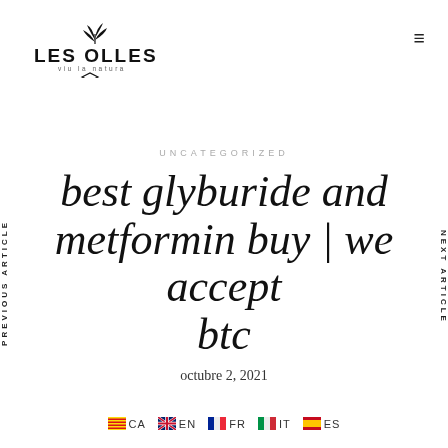[Figure (logo): Les Olles logo with plant/leaf motif, text LES OLLES and tagline viu la natura, diamond shape below]
UNCATEGORIZED
best glyburide and metformin buy | we accept btc
octubre 2, 2021
PREVIOUS ARTICLE
NEXT ARTICLE
CA  EN  FR  IT  ES